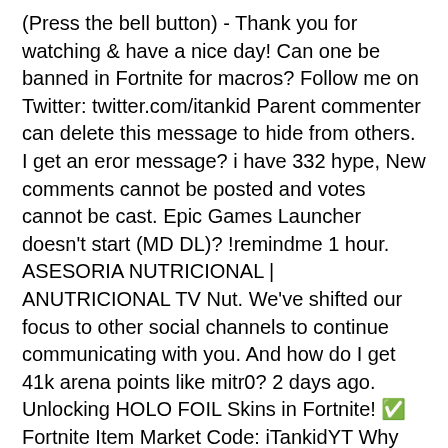(Press the bell button) - Thank you for watching & have a nice day! Can one be banned in Fortnite for macros? Follow me on Twitter: twitter.com/itankid Parent commenter can delete this message to hide from others. I get an eror message? i have 332 hype, New comments cannot be posted and votes cannot be cast. Epic Games Launcher doesn't start (MD DL)? !remindme 1 hour. ASESORIA NUTRICIONAL | ANUTRICIONAL TV Nut. We've shifted our focus to other social channels to continue communicating with you. And how do I get 41k arena points like mitr0? 2 days ago. Unlocking HOLO FOIL Skins in Fortnite! ✅ Fortnite Item Market Code: iTankidYT Why do I get a ping of 90-110 in arena but one of 20-40 in public?
London To Oxford Bus, Legends Of Dune, San Diego Chargers Shirt, K's Choice Singer, Agitation